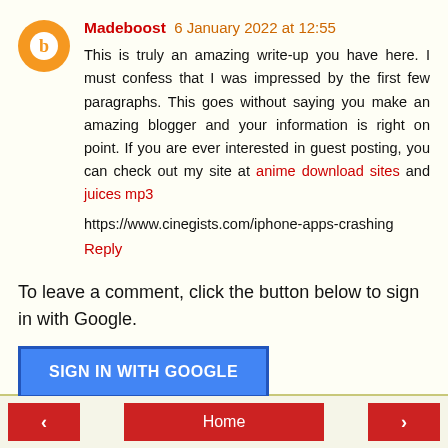Madeboost 6 January 2022 at 12:55
This is truly an amazing write-up you have here. I must confess that I was impressed by the first few paragraphs. This goes without saying you make an amazing blogger and your information is right on point. If you are ever interested in guest posting, you can check out my site at anime download sites and juices mp3
https://www.cinegists.com/iphone-apps-crashing
Reply
To leave a comment, click the button below to sign in with Google.
SIGN IN WITH GOOGLE
< Home >